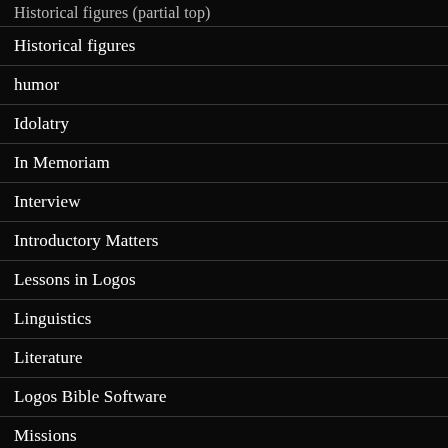Historical figures
humor
Idolatry
In Memoriam
Interview
Introductory Matters
Lessons in Logos
Linguistics
Literature
Logos Bible Software
Missions
Poetic devices